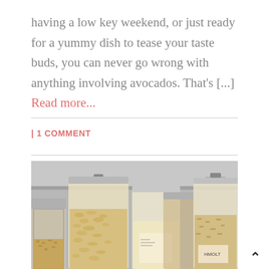having a low key weekend, or just ready for a yummy dish to tease your taste buds, you can never go wrong with anything involving avocados. That's [...] Read more...
| 1 COMMENT
[Figure (photo): A shelf with several glass jars containing various dry pantry goods — oats, flours, and grains — with metal and clip-top lids.]